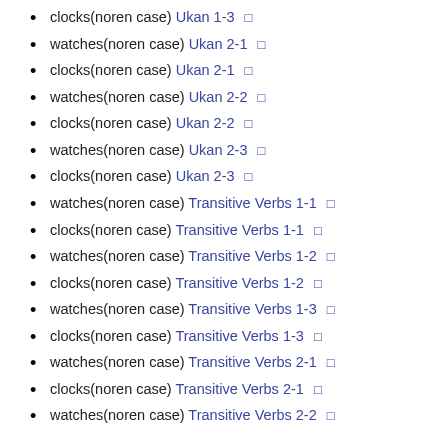clocks(noren case) Ukan 1-3 □
watches(noren case) Ukan 2-1 □
clocks(noren case) Ukan 2-1 □
watches(noren case) Ukan 2-2 □
clocks(noren case) Ukan 2-2 □
watches(noren case) Ukan 2-3 □
clocks(noren case) Ukan 2-3 □
watches(noren case) Transitive Verbs 1-1 □
clocks(noren case) Transitive Verbs 1-1 □
watches(noren case) Transitive Verbs 1-2 □
clocks(noren case) Transitive Verbs 1-2 □
watches(noren case) Transitive Verbs 1-3 □
clocks(noren case) Transitive Verbs 1-3 □
watches(noren case) Transitive Verbs 2-1 □
clocks(noren case) Transitive Verbs 2-1 □
watches(noren case) Transitive Verbs 2-2 □